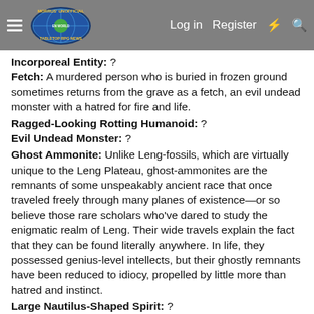MORRUS' UNOFFICIAL TABLETOP RPG NEWS | Log in | Register
Incorporeal Entity: ?
Fetch: A murdered person who is buried in frozen ground sometimes returns from the grave as a fetch, an evil undead monster with a hatred for fire and life.
Ragged-Looking Rotting Humanoid: ?
Evil Undead Monster: ?
Ghost Ammonite: Unlike Leng-fossils, which are virtually unique to the Leng Plateau, ghost-ammonites are the remnants of some unspeakably ancient race that once traveled freely through many planes of existence—or so believe those rare scholars who've dared to study the enigmatic realm of Leng. Their wide travels explain the fact that they can be found literally anywhere. In life, they possessed genius-level intellects, but their ghostly remnants have been reduced to idiocy, propelled by little more than hatred and instinct.
Large Nautilus-Shaped Spirit: ?